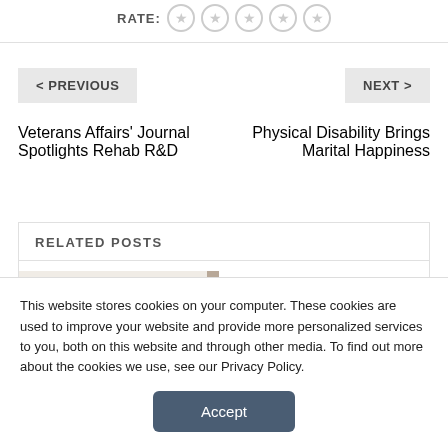RATE: ☆ ☆ ☆ ☆ ☆
< PREVIOUS
NEXT >
Veterans Affairs' Journal Spotlights Rehab R&D
Physical Disability Brings Marital Happiness
RELATED POSTS
[Figure (photo): Related post thumbnail image showing H2N chemical notation on a light beige background]
This website stores cookies on your computer. These cookies are used to improve your website and provide more personalized services to you, both on this website and through other media. To find out more about the cookies we use, see our Privacy Policy.
Accept